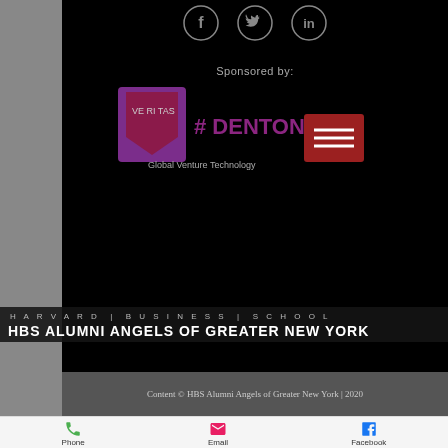[Figure (infographic): Social media icons: Facebook (f), Twitter (bird), LinkedIn (in) in dark circles on black background]
Sponsored by:
[Figure (logo): Dentons logo with Harvard shield, text reading DENTONS and Global Venture Technology]
HARVARD | BUSINESS | SCHOOL
HBS ALUMNI ANGELS OF GREATER NEW YORK
Content © HBS Alumni Angels of Greater New York | 2020
[Figure (infographic): Mobile action bar with Phone, Email, and Facebook icons]